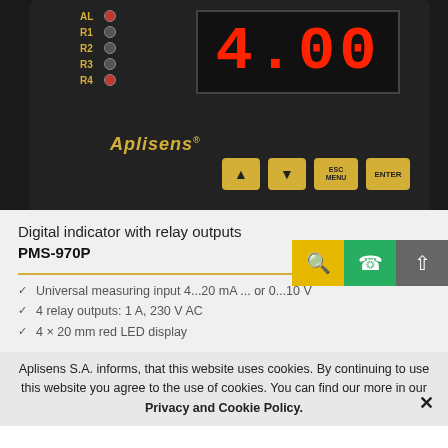[Figure (photo): Aplisens PMS-970P digital indicator device with relay outputs. Black panel showing red LED display reading '4.00', yellow label indicators (AL, R1, R2, R3, R4) with LED dots on left side, yellow navigation arrow buttons, ESC/MENU and ENTER buttons, and Aplisens gold logo on the front panel.]
Digital indicator with relay outputs
PMS-970P
Universal measuring input 4...20 mA or 0...10 V
4 relay outputs: 1 A, 230 V AC
4 × 20 mm red LED display
Aplisens S.A. informs, that this website uses cookies. By continuing to use this website you agree to the use of cookies. You can find our more in our Privacy and Cookie Policy. X